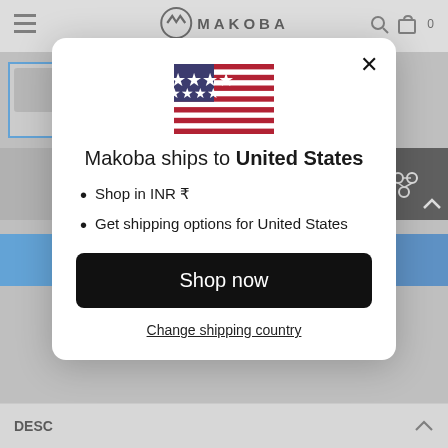[Figure (screenshot): E-commerce website background showing Makoba brand header, navigation, product image placeholders, blue add-to-cart buttons, and a DESCRIPTION section at the bottom]
[Figure (infographic): Modal dialog popup on Makoba website: US flag at top, text 'Makoba ships to United States', bullet points listing 'Shop in INR ₹' and 'Get shipping options for United States', a black 'Shop now' button, and a 'Change shipping country' link]
Makoba ships to United States
Shop in INR ₹
Get shipping options for United States
Shop now
Change shipping country